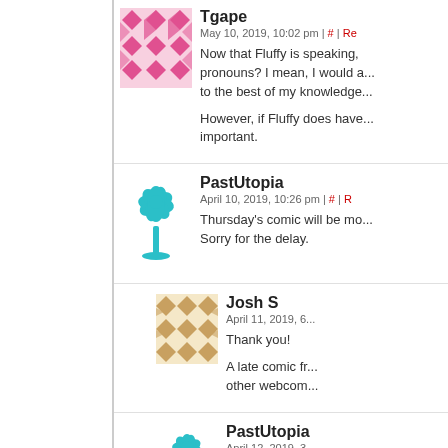[Figure (illustration): Pink geometric/diamond pattern avatar for user Tgape]
Tgape
May 10, 2019, 10:02 pm | # | Re...
Now that Fluffy is speaking, pronouns? I mean, I would a... to the best of my knowledge...
However, if Fluffy does have... important.
[Figure (illustration): Teal/cyan palm tree avatar for user PastUtopia]
PastUtopia
April 10, 2019, 10:26 pm | # | R...
Thursday's comic will be mo... Sorry for the delay.
[Figure (illustration): Gold/tan geometric diamond pattern avatar for user Josh S]
Josh S
April 11, 2019, 6...
Thank you!
A late comic fr... other webcom...
[Figure (illustration): Teal/cyan palm tree avatar for user PastUtopia (second instance)]
PastUtopia
April 12, 2019, 3...
Will be delaye... today. Pretty s... that's just to...